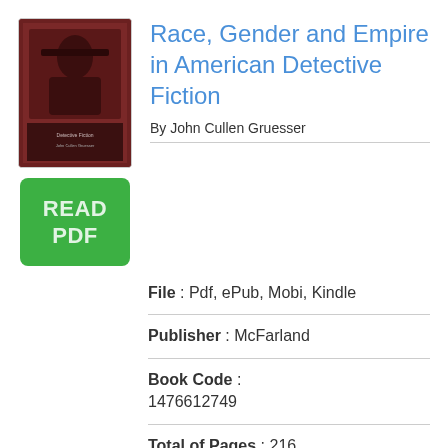Race, Gender and Empire in American Detective Fiction
By John Cullen Gruesser
[Figure (illustration): Book cover thumbnail for 'Race, Gender and Empire in American Detective Fiction' by John Cullen Gruesser, with a dark red background and figure illustration]
[Figure (other): Green button labeled READ PDF]
File : Pdf, ePub, Mobi, Kindle
Publisher : McFarland
Book Code : 1476612749
Total of Pages : 216
Category : Performing Arts